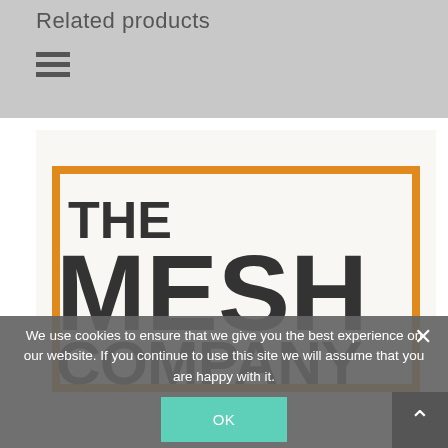Related products
[Figure (logo): The Mesh Company logo — large bold dark text reading 'THE MESH COMPANY' with an orange rectangular border/bracket design on a white/cream background]
We use cookies to ensure that we give you the best experience on our website. If you continue to use this site we will assume that you are happy with it.